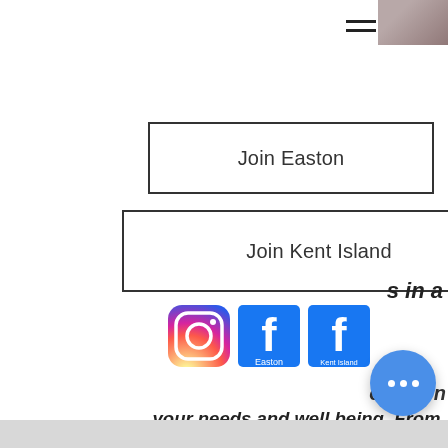[Figure (screenshot): Mobile website screenshot showing navigation buttons 'Join Easton' and 'Join Kent Island', social media icons (Instagram, Facebook Easton, Facebook Kent Island), and partial italic bold text about fitness classes.]
Join Easton
Join Kent Island
s in a
[Figure (logo): Instagram logo icon]
[Figure (logo): Facebook Easton logo icon]
[Figure (logo): Facebook Kent Island logo icon]
ocus on your needs and well being. From strength building to cardio workouts, you will find a class that meets your personal goals. We even offer a boxing class, as well as one for youth.
STANDARD CLASS DESCRIPTIONS
24/7 Fitness Room